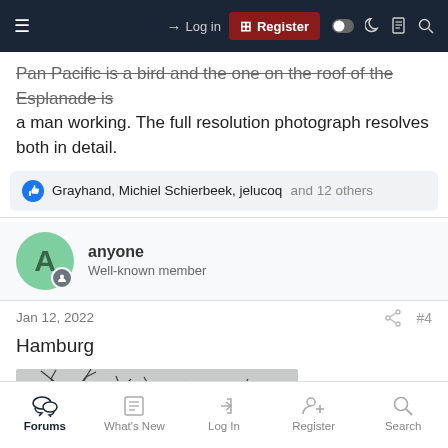Log in | Register
Pan Pacific is a bird and the one on the roof of the Esplanade is a man working. The full resolution photograph resolves both in detail.
Grayhand, Michiel Schierbeek, jelucoq and 12 others
anyone
Well-known member
Jan 12, 2022  #4
Hamburg
[Figure (photo): Photograph thumbnail showing bare winter tree branches against a grey sky]
Forums | What's New | Log In | Register | Search